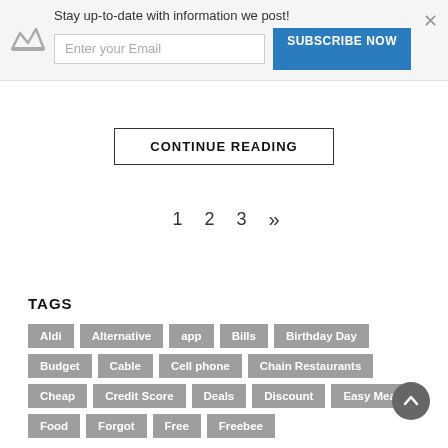[Figure (screenshot): Subscription banner with crown icon, email input field, Subscribe Now button, and close X button. Text: Stay up-to-date with information we post!]
CONTINUE READING
1  2  3  »
TAGS
Aldi
Alternative
app
Bills
Birthday Day
Budget
Cable
Cell phone
Chain Restaurants
Cheap
Credit Score
Deals
Discount
Easy Meal
Food
Forgot
Free
Freebee